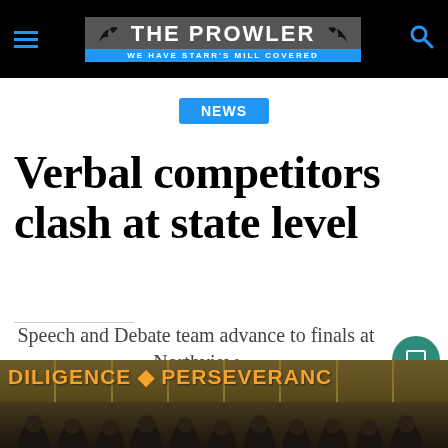THE PROWLER — WE HAVE STARR'S MILL COVERED
NEWS
Verbal competitors clash at state level
Speech and Debate team advance to finals at Northview
[Figure (photo): Group photo of Speech and Debate team members standing in front of lockers with a banner reading DILIGENCE • PERSEVERANCE]